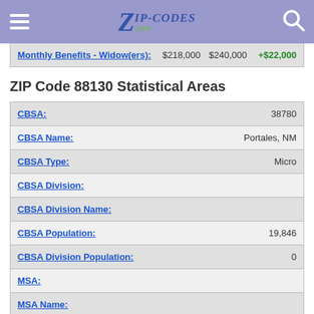ZIP-CODES.com
| Label | Value1 | Value2 | Change |
| --- | --- | --- | --- |
| Monthly Benefits - Widow(ers): | $218,000 | $240,000 | +$22,000 |
ZIP Code 88130 Statistical Areas
| Field | Value |
| --- | --- |
| CBSA: | 38780 |
| CBSA Name: | Portales, NM |
| CBSA Type: | Micro |
| CBSA Division: |  |
| CBSA Division Name: |  |
| CBSA Population: | 19,846 |
| CBSA Division Population: | 0 |
| MSA: |  |
| MSA Name: |  |